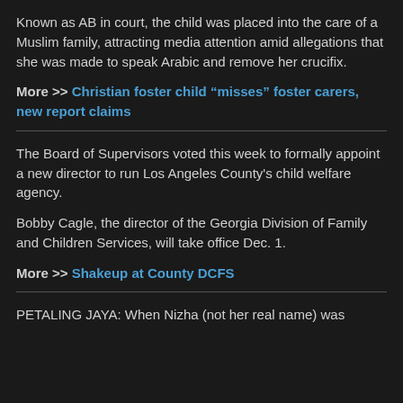Known as AB in court, the child was placed into the care of a Muslim family, attracting media attention amid allegations that she was made to speak Arabic and remove her crucifix.
More >> Christian foster child “misses” foster carers, new report claims
The Board of Supervisors voted this week to formally appoint a new director to run Los Angeles County's child welfare agency.
Bobby Cagle, the director of the Georgia Division of Family and Children Services, will take office Dec. 1.
More >> Shakeup at County DCFS
PETALING JAYA: When Nizha (not her real name) was